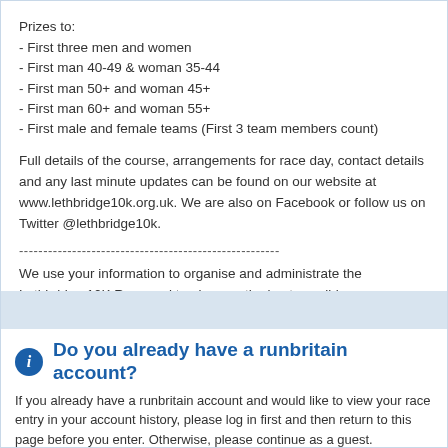Prizes to:
- First three men and women
- First man 40-49 & woman 35-44
- First man 50+ and woman 45+
- First man 60+ and woman 55+
- First male and female teams (First 3 team members count)
Full details of the course, arrangements for race day, contact details and any last minute updates can be found on our website at www.lethbridge10k.org.uk. We are also on Facebook or follow us on Twitter @lethbridge10k.
------------------------------------------------------
We use your information to organise and administrate the Lethbridge 10K Race and to give you the best possible race experience. Full details of how we use your information, including the third parties with whom we share it and how you can exercise your rights under data privacy legislation, can be found on our website at www.lethbridge10K.org.uk.
Do you already have a runbritain account?
If you already have a runbritain account and would like to view your race entry in your account history, please log in first and then return to this page before you enter. Otherwise, please continue as a guest.